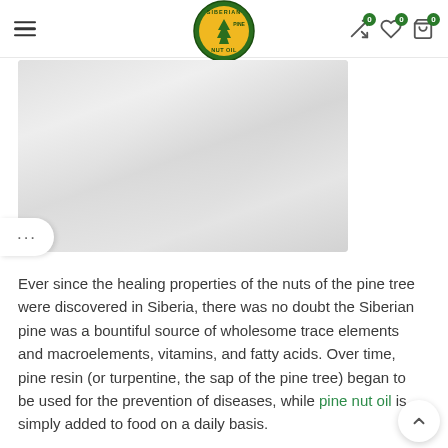Siberian Pine Nut Oil — website header with logo, hamburger menu, and cart/wishlist icons
[Figure (photo): Product or nature photograph, partially visible, greyed out/faded appearance, rectangular image area]
Ever since the healing properties of the nuts of the pine tree were discovered in Siberia, there was no doubt the Siberian pine was a bountiful source of wholesome trace elements and macroelements, vitamins, and fatty acids. Over time, pine resin (or turpentine, the sap of the pine tree) began to be used for the prevention of diseases, while pine nut oil is simply added to food on a daily basis.